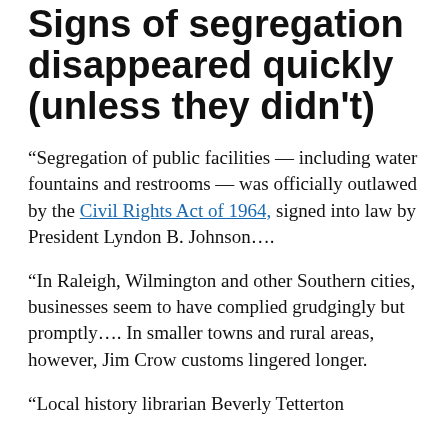Signs of segregation disappeared quickly (unless they didn't)
“Segregation of public facilities — including water fountains and restrooms — was officially outlawed by the Civil Rights Act of 1964, signed into law by President Lyndon B. Johnson….
“In Raleigh, Wilmington and other Southern cities, businesses seem to have complied grudgingly but promptly…. In smaller towns and rural areas, however, Jim Crow customs lingered longer.
“Local history librarian Beverly Tetterton